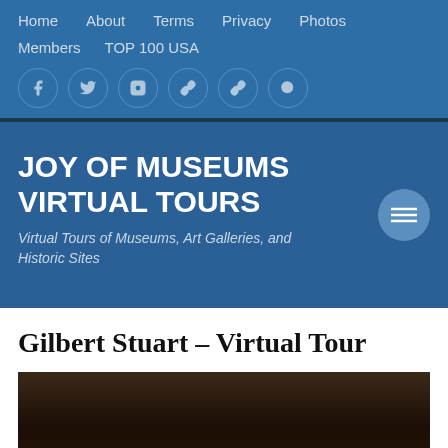Home   About   Terms   Privacy   Photos   Members   TOP 100 USA
JOY OF MUSEUMS VIRTUAL TOURS
Virtual Tours of Museums, Art Galleries, and Historic Sites
Gilbert Stuart – Virtual Tour
[Figure (photo): Dark painting or portrait, partially visible at bottom of page, consistent with Gilbert Stuart's portrait style.]